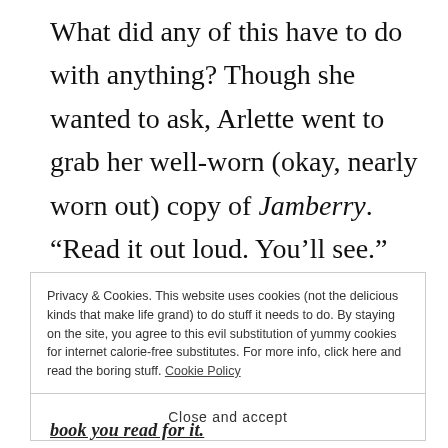What did any of this have to do with anything? Though she wanted to ask, Arlette went to grab her well-worn (okay, nearly worn out) copy of Jamberry. “Read it out loud. You’ll see.”
It only took two sentences for him to
Privacy & Cookies. This website uses cookies (not the delicious kinds that make life grand) to do stuff it needs to do. By staying on the site, you agree to this evil substitution of yummy cookies for internet calorie-free substitutes. For more info, click here and read the boring stuff. Cookie Policy
Close and accept
book you read for it.